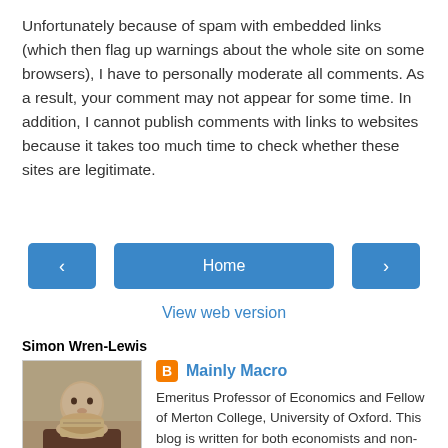Unfortunately because of spam with embedded links (which then flag up warnings about the whole site on some browsers), I have to personally moderate all comments. As a result, your comment may not appear for some time. In addition, I cannot publish comments with links to websites because it takes too much time to check whether these sites are legitimate.
[Figure (other): Navigation buttons row: left arrow button, Home button (center), right arrow button]
View web version
Simon Wren-Lewis
[Figure (photo): Profile photo of Simon Wren-Lewis, an older man with grey hair and beard, against a stone wall background]
Mainly Macro
Emeritus Professor of Economics and Fellow of Merton College, University of Oxford. This blog is written for both economists and non-economists, and covers macroeconomics but also other economic issues,